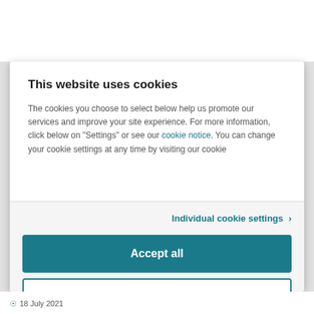This website uses cookies
The cookies you choose to select below help us promote our services and improve your site experience. For more information, click below on "Settings" or see our cookie notice. You can change your cookie settings at any time by visiting our cookie
Individual cookie settings >
Accept all
Individual cookie settings >
Powered by Cookiebot by Usercentrics
18 July 2021